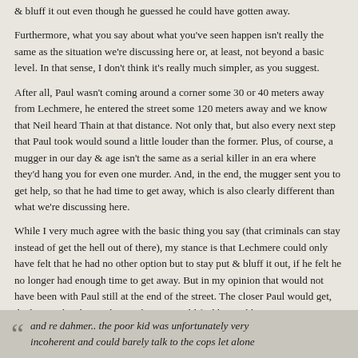& bluff it out even though he guessed he could have gotten away.
Furthermore, what you say about what you've seen happen isn't really the same as the situation we're discussing here or, at least, not beyond a basic level. In that sense, I don't think it's really much simpler, as you suggest.
After all, Paul wasn't coming around a corner some 30 or 40 meters away from Lechmere, he entered the street some 120 meters away and we know that Neil heard Thain at that distance. Not only that, but also every next step that Paul took would sound a little louder than the former. Plus, of course, a mugger in our day & age isn't the same as a serial killer in an era where they'd hang you for even one murder. And, in the end, the mugger sent you to get help, so that he had time to get away, which is also clearly different than what we're discussing here.
While I very much agree with the basic thing you say (that criminals can stay instead of get the hell out of there), my stance is that Lechmere could only have felt that he had no other option but to stay put & bluff it out, if he felt he no longer had enough time to get away. But in my opinion that would not have been with Paul still at the end of the street. The closer Paul would get, the bigger the chance that Lechmere would feel he couldn't get away. But, on the other hand, the closer Paul would get, the more unbelievable the story would get as far as I'm concerned. After all, Lechmere the killer would have every reason to listen for sounds while he was "working" on Nichols and the sound of Paul's footsteps would only get louder.
and re dahmer.. the poor kid was unfortunately very incoherent and could barely talk to the cops let alone